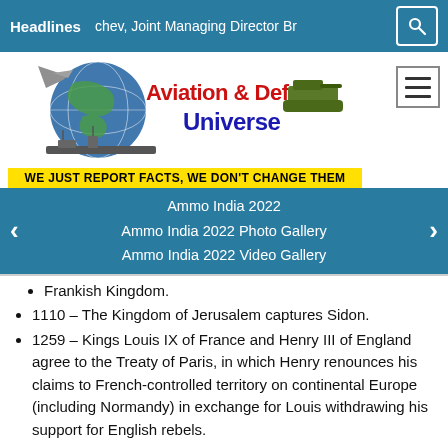Headlines   chev, Joint Managing Director Br
[Figure (logo): Aviation & Defence Universe logo with globe, aircraft, tank and naval ship. Tagline: WE JUST REPORT FACTS, WE DON'T CHANGE THEM]
Ammo India 2022
Ammo India 2022 Photo Gallery
Ammo India 2022 Video Gallery
Frankish Kingdom.
1110 – The Kingdom of Jerusalem captures Sidon.
1259 – Kings Louis IX of France and Henry III of England agree to the Treaty of Paris, in which Henry renounces his claims to French-controlled territory on continental Europe (including Normandy) in exchange for Louis withdrawing his support for English rebels.
1489 – Battle of Baza – Spanish army captures